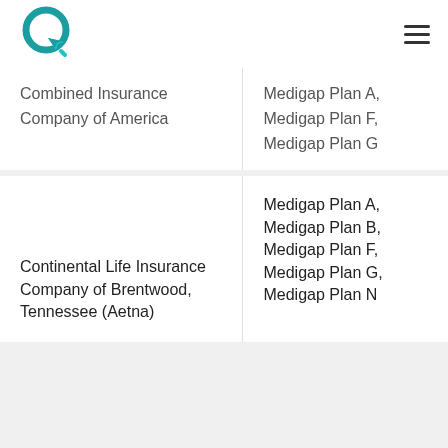Logo and navigation menu
| Company | Plans |
| --- | --- |
| Combined Insurance Company of America | Medigap Plan A, Medigap Plan F, Medigap Plan G |
| Continental Life Insurance Company of Brentwood, Tennessee (Aetna) | Medigap Plan A, Medigap Plan B, Medigap Plan F, Medigap Plan G, Medigap Plan N |